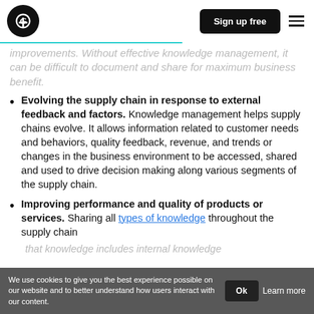Grammarly | Sign up free
improvements. Without effective knowledge management, it can be difficult to document and share for maximum business benefit.
Evolving the supply chain in response to external feedback and factors. Knowledge management helps supply chains evolve. It allows information related to customer needs and behaviors, quality feedback, revenue, and trends or changes in the business environment to be accessed, shared and used to drive decision making along various segments of the supply chain.
Improving performance and quality of products or services. Sharing all types of knowledge throughout the supply chain
that knowledge includes internal knowledge
We use cookies to give you the best experience possible on our website and to better understand how users interact with our content. Ok Learn more